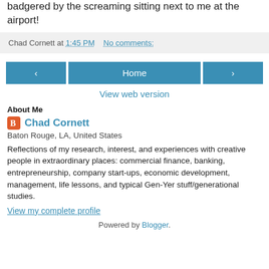badgered by the screaming sitting next to me at the airport!
Chad Cornett at 1:45 PM   No comments:
Home
View web version
About Me
Chad Cornett
Baton Rouge, LA, United States
Reflections of my research, interest, and experiences with creative people in extraordinary places: commercial finance, banking, entrepreneurship, company start-ups, economic development, management, life lessons, and typical Gen-Yer stuff/generational studies.
View my complete profile
Powered by Blogger.